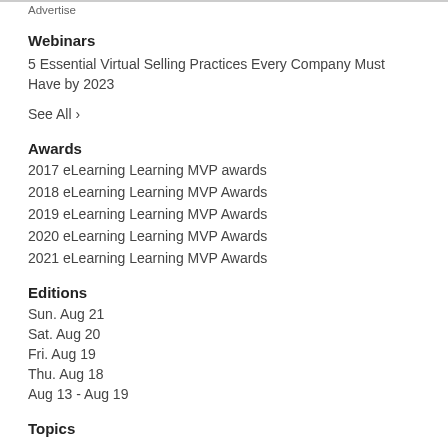Advertise
Webinars
5 Essential Virtual Selling Practices Every Company Must Have by 2023
See All ›
Awards
2017 eLearning Learning MVP awards
2018 eLearning Learning MVP Awards
2019 eLearning Learning MVP Awards
2020 eLearning Learning MVP Awards
2021 eLearning Learning MVP Awards
Editions
Sun. Aug 21
Sat. Aug 20
Fri. Aug 19
Thu. Aug 18
Aug 13 - Aug 19
Topics